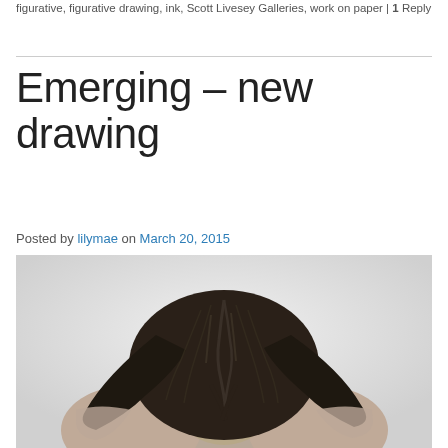figurative, figurative drawing, ink, Scott Livesey Galleries, work on paper | 1 Reply
Emerging – new drawing
Posted by lilymae on March 20, 2015
[Figure (photo): Black and white photograph/drawing of a person viewed from behind with head bowed down, long dark braided hair falling forward, bare shoulders visible against a light grey background.]